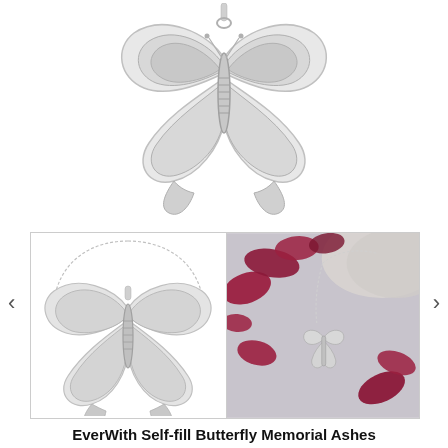[Figure (photo): Close-up product photo of a silver butterfly pendant necklace on white background, showing detailed filigree butterfly design with chain clasp at top]
[Figure (photo): Product photo of silver butterfly memorial ashes pendant on chain against white background]
[Figure (photo): Lifestyle photo of silver butterfly memorial ashes pendant on chain displayed with red rose petals and grey textile on light purple/grey background]
EverWith Self-fill Butterfly Memorial Ashes